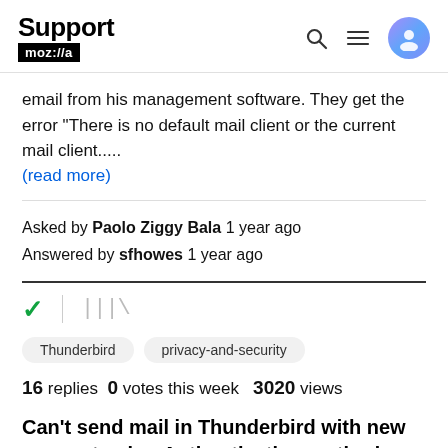Support mozilla // (search, menu, avatar icons)
email from his management software. They get the error "There is no default mail client or the current mail client.....
(read more)
Asked by Paolo Ziggy Bala 1 year ago
Answered by sfhowes 1 year ago
Thunderbird   privacy-and-security
16 replies   0 votes this week   3020 views
Can't send mail in Thunderbird with new account using Authentication method: OAuth2